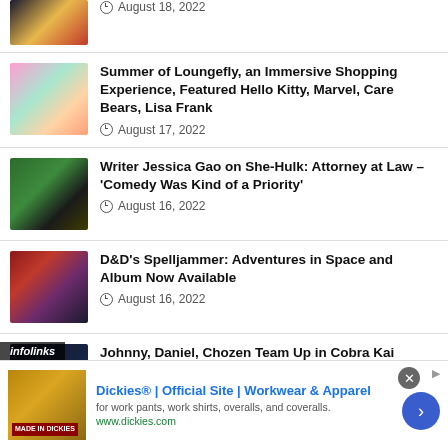August 18, 2022
Summer of Loungefly, an Immersive Shopping Experience, Featured Hello Kitty, Marvel, Care Bears, Lisa Frank
August 17, 2022
Writer Jessica Gao on She-Hulk: Attorney at Law – 'Comedy Was Kind of a Priority'
August 16, 2022
D&D's Spelljammer: Adventures in Space and Album Now Available
August 16, 2022
Johnny, Daniel, Chozen Team Up in Cobra Kai Season 5 Trailer
infolinks
Dickies® | Official Site | Workwear & Apparel
for work pants, work shirts, overalls, and coveralls.
www.dickies.com